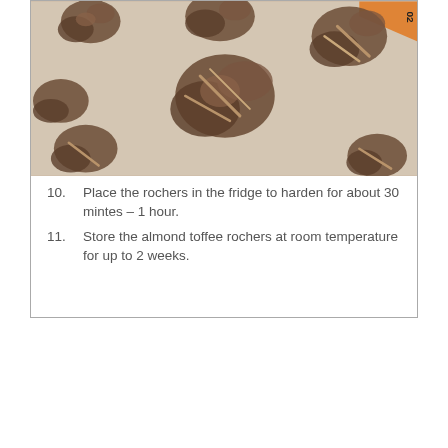[Figure (photo): Photo of almond toffee rochers (clusters of toffee-coated almonds) laid out on a silicone baking mat]
10. Place the rochers in the fridge to harden for about 30 mintes – 1 hour.
11. Store the almond toffee rochers at room temperature for up to 2 weeks.